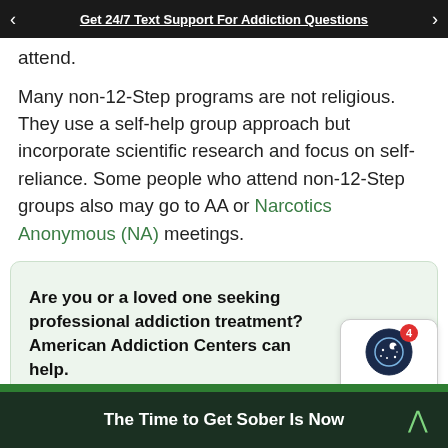Get 24/7 Text Support For Addiction Questions
attend.
Many non-12-Step programs are not religious. They use a self-help group approach but incorporate scientific research and focus on self-reliance. Some people who attend non-12-Step groups also may go to AA or Narcotics Anonymous (NA) meetings.
Are you or a loved one seeking professional addiction treatment? American Addiction Centers can help.
[Figure (other): Chat with AAC widget showing a circular icon with stars/moon and a red notification badge showing 4]
The Time to Get Sober Is Now